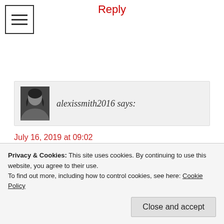Reply
[Figure (other): Hamburger menu icon — three horizontal lines inside a square border]
[Figure (photo): Black and white profile photo of a person]
alexissmith2016 says:
July 16, 2019 at 09:02
Oh crap! Just googled him! He has to be an UGN elite! No wonder Celeste had so many sexual encounters! blimey!

Please correct me if I'm wrong HG
Privacy & Cookies: This site uses cookies. By continuing to use this website, you agree to their use.
To find out more, including how to control cookies, see here: Cookie Policy
Close and accept